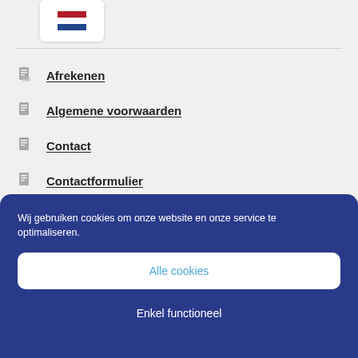[Figure (illustration): Dutch flag icon in a white rounded box]
Afrekenen
Algemene voorwaarden
Contact
Contactformulier
Cookie beleid
Wij gebruiken cookies om onze website en onze service te optimaliseren.
Alle cookies
Enkel functioneel